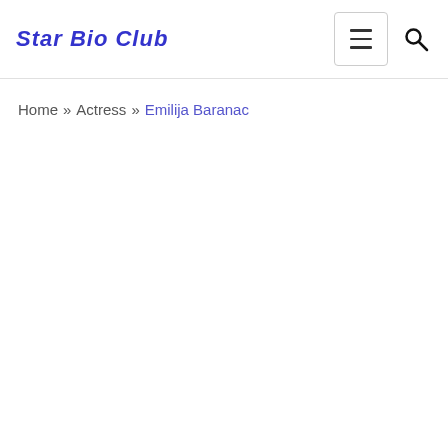Star Bio Club
Home » Actress » Emilija Baranac